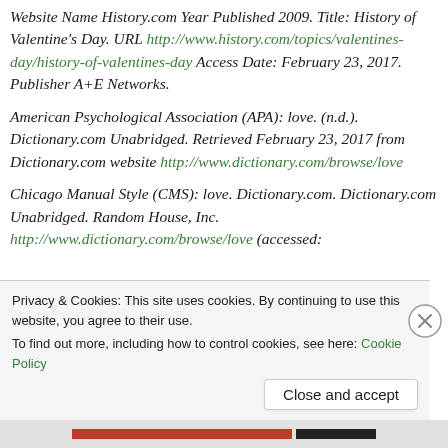Website Name History.com Year Published 2009. Title: History of Valentine's Day. URL http://www.history.com/topics/valentines-day/history-of-valentines-day Access Date: February 23, 2017. Publisher A+E Networks.
American Psychological Association (APA): love. (n.d.). Dictionary.com Unabridged. Retrieved February 23, 2017 from Dictionary.com website http://www.dictionary.com/browse/love
Chicago Manual Style (CMS): love. Dictionary.com. Dictionary.com Unabridged. Random House, Inc. http://www.dictionary.com/browse/love (accessed:
Privacy & Cookies: This site uses cookies. By continuing to use this website, you agree to their use.
To find out more, including how to control cookies, see here: Cookie Policy